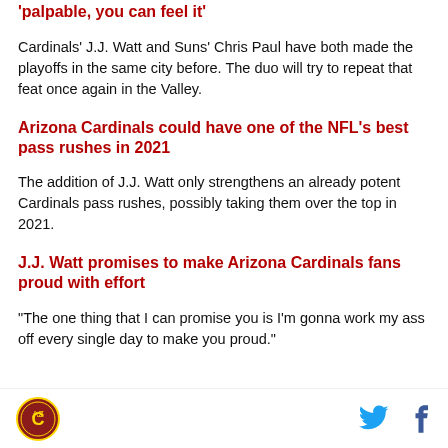'palpable, you can feel it'
Cardinals' J.J. Watt and Suns' Chris Paul have both made the playoffs in the same city before. The duo will try to repeat that feat once again in the Valley.
Arizona Cardinals could have one of the NFL's best pass rushes in 2021
The addition of J.J. Watt only strengthens an already potent Cardinals pass rushes, possibly taking them over the top in 2021.
J.J. Watt promises to make Arizona Cardinals fans proud with effort
"The one thing that I can promise you is I'm gonna work my ass off every single day to make you proud."
Arizona Cardinals logo | Twitter | Facebook